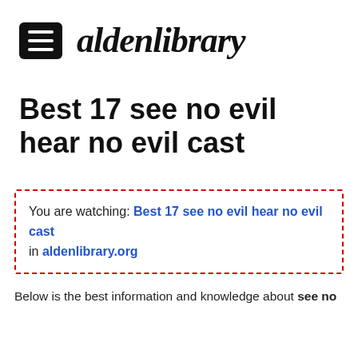aldenlibrary
Best 17 see no evil hear no evil cast
You are watching: Best 17 see no evil hear no evil cast in aldenlibrary.org
Below is the best information and knowledge about see no